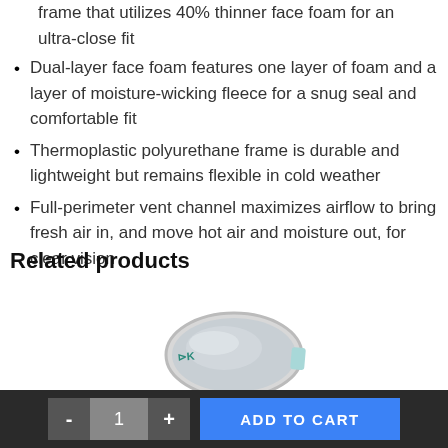frame that utilizes 40% thinner face foam for an ultra-close fit
Dual-layer face foam features one layer of foam and a layer of moisture-wicking fleece for a snug seal and comfortable fit
Thermoplastic polyurethane frame is durable and lightweight but remains flexible in cold weather
Full-perimeter vent channel maximizes airflow to bring fresh air in, and move hot air and moisture out, for clear vision
Related products
[Figure (photo): Snow goggle with light blue/mint strap and silver mirrored lens, Anon brand logo visible on strap]
- 1 + ADD TO CART